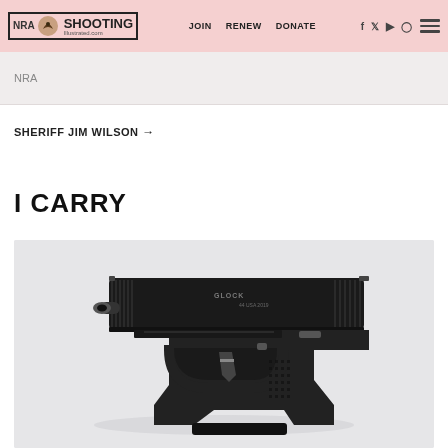NRA Shooting Illustrated | JOIN | RENEW | DONATE
NRA
SHERIFF JIM WILSON →
I CARRY
[Figure (photo): A black Glock semi-automatic pistol shown in left profile view against a light gray/white background. The slide features Glock branding and USA markings. The pistol has a textured polymer grip and standard Glock trigger safety.]